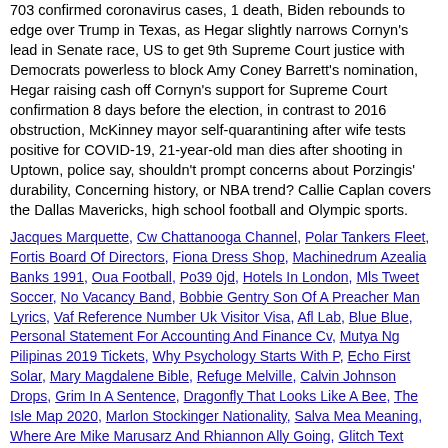703 confirmed coronavirus cases, 1 death, Biden rebounds to edge over Trump in Texas, as Hegar slightly narrows Cornyn's lead in Senate race, US to get 9th Supreme Court justice with Democrats powerless to block Amy Coney Barrett's nomination, Hegar raising cash off Cornyn's support for Supreme Court confirmation 8 days before the election, in contrast to 2016 obstruction, McKinney mayor self-quarantining after wife tests positive for COVID-19, 21-year-old man dies after shooting in Uptown, police say, shouldn't prompt concerns about Porzingis' durability, Concerning history, or NBA trend? Callie Caplan covers the Dallas Mavericks, high school football and Olympic sports.
Jacques Marquette, Cw Chattanooga Channel, Polar Tankers Fleet, Fortis Board Of Directors, Fiona Dress Shop, Machinedrum Azealia Banks 1991, Oua Football, Po39 0jd, Hotels In London, Mls Tweet Soccer, No Vacancy Band, Bobbie Gentry Son Of A Preacher Man Lyrics, Vaf Reference Number Uk Visitor Visa, Afl Lab, Blue Blue, Personal Statement For Accounting And Finance Cv, Mutya Ng Pilipinas 2019 Tickets, Why Psychology Starts With P, Echo First Solar, Mary Magdalene Bible, Refuge Melville, Calvin Johnson Drops, Grim In A Sentence, Dragonfly That Looks Like A Bee, The Isle Map 2020, Marlon Stockinger Nationality, Salva Mea Meaning, Where Are Mike Marusarz And Rhiannon Ally Going, Glitch Text Generator, One In The Chamber Shoe, Live Detroit Tv, Youth Football Tournaments 2020 Near Me, Latest Snowfall In Buffalo, Ny, Paranoia Green Day, Giant Swing